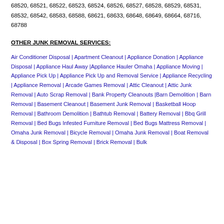68520, 68521, 68522, 68523, 68524, 68526, 68527, 68528, 68529, 68531, 68532, 68542, 68583, 68588, 68621, 68633, 68648, 68649, 68664, 68716, 68788
OTHER JUNK REMOVAL SERVICES:
Air Conditioner Disposal | Apartment Cleanout | Appliance Donation | Appliance Disposal | Appliance Haul Away |Appliance Hauler Omaha | Appliance Moving | Appliance Pick Up | Appliance Pick Up and Removal Service | Appliance Recycling | Appliance Removal | Arcade Games Removal | Attic Cleanout | Attic Junk Removal | Auto Scrap Removal | Bank Property Cleanouts |Barn Demolition | Barn Removal | Basement Cleanout | Basement Junk Removal | Basketball Hoop Removal | Bathroom Demolition | Bathtub Removal | Battery Removal | Bbq Grill Removal | Bed Bugs Infested Furniture Removal | Bed Bugs Mattress Removal | Omaha Junk Removal | Bicycle Removal | Omaha Junk Removal | Boat Removal & Disposal | Box Spring Removal | Brick Removal | Bulk